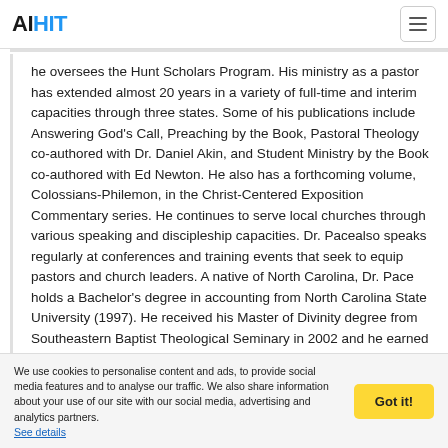AIHIT
he oversees the Hunt Scholars Program. His ministry as a pastor has extended almost 20 years in a variety of full-time and interim capacities through three states. Some of his publications include Answering God's Call, Preaching by the Book, Pastoral Theology co-authored with Dr. Daniel Akin, and Student Ministry by the Book co-authored with Ed Newton. He also has a forthcoming volume, Colossians-Philemon, in the Christ-Centered Exposition Commentary series. He continues to serve local churches through various speaking and discipleship capacities. Dr. Pacealso speaks regularly at conferences and training events that seek to equip pastors and church leaders. A native of North Carolina, Dr. Pace holds a Bachelor's degree in accounting from North Carolina State University (1997). He received his Master of Divinity degree from Southeastern Baptist Theological Seminary in 2002 and he earned his Ph.D. in Applied
We use cookies to personalise content and ads, to provide social media features and to analyse our traffic. We also share information about your use of our site with our social media, advertising and analytics partners. See details